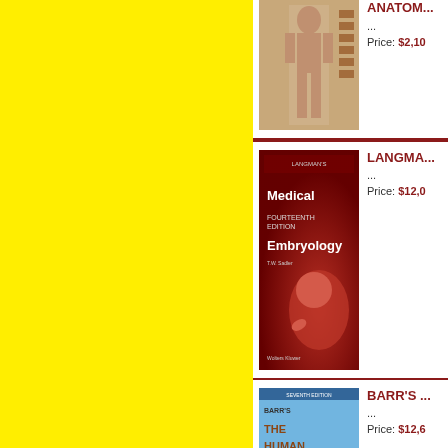[Figure (illustration): Yellow background panel on left side of page]
[Figure (photo): Book cover - anatomy textbook with human body diagram, partially visible at top]
...
Price: $2,10
[Figure (photo): Book cover - Langman's Medical Embryology, Fourteenth Edition by T.W. Sadler, Wolters Kluwer, red cover with fetus image]
LANGMA...
...
Price: $12,0
[Figure (photo): Book cover - Barr's The Human Nervous System: An Anatomical Viewpoint, Seventh Edition, blue cover with brain scan image]
BARR'S ...
...
Price: $12,6